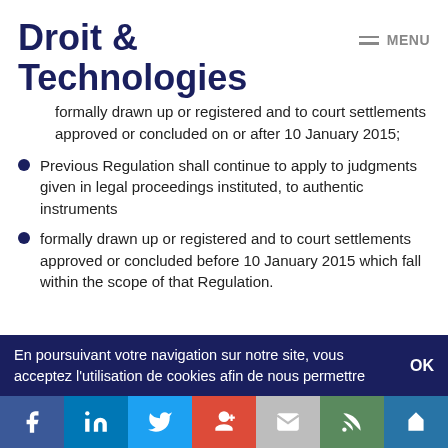Droit & Technologies
formally drawn up or registered and to court settlements approved or concluded on or after 10 January 2015;
Previous Regulation shall continue to apply to judgments given in legal proceedings instituted, to authentic instruments
formally drawn up or registered and to court settlements approved or concluded before 10 January 2015 which fall within the scope of that Regulation.
En poursuivant votre navigation sur notre site, vous acceptez l'utilisation de cookies afin de nous permettre OK